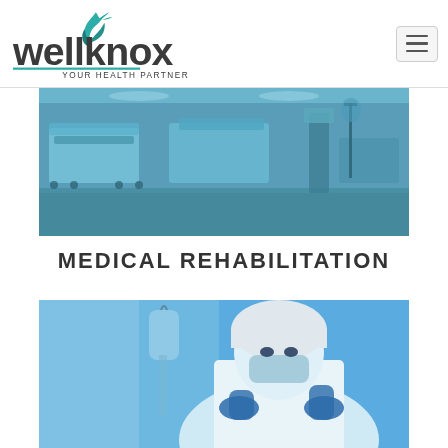[Figure (logo): Wellknox - Your Health Partner logo with teal bird/flame icon]
[Figure (photo): Hospital corridor with empty beds and medical equipment, blue-tinted]
MEDICAL REHABILITATION
[Figure (photo): Medical professional in white coat, gloves, mask and hair cover, working with IV/medical equipment, blue-tinted]